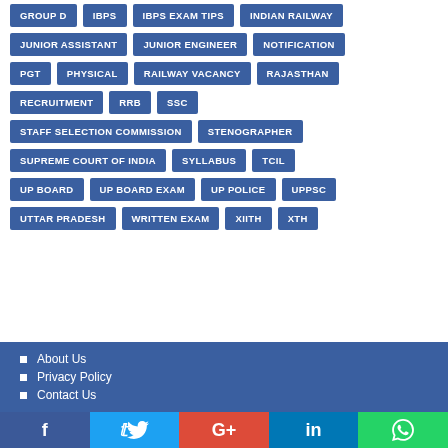GROUP D
IBPS
IBPS EXAM TIPS
INDIAN RAILWAY
JUNIOR ASSISTANT
JUNIOR ENGINEER
NOTIFICATION
PGT
PHYSICAL
RAILWAY VACANCY
RAJASTHAN
RECRUITMENT
RRB
SSC
STAFF SELECTION COMMISSION
STENOGRAPHER
SUPREME COURT OF INDIA
SYLLABUS
TCIL
UP BOARD
UP BOARD EXAM
UP POLICE
UPPSC
UTTAR PRADESH
WRITTEN EXAM
XIITH
XTH
About Us | Privacy Policy | Contact Us